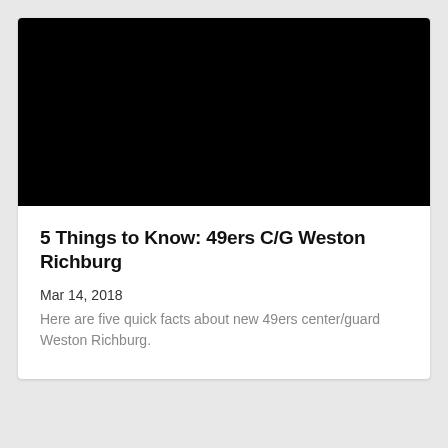[Figure (photo): Black rectangle representing a video thumbnail or image placeholder]
5 Things to Know: 49ers C/G Weston Richburg
Mar 14, 2018
Here are five quick facts about new 49ers center/guard Weston Richburg.